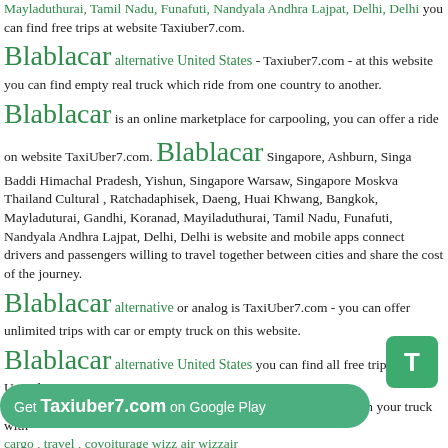Mayladuthurai, Tamil Nadu, Funafuti, Nandyala Andhra Lajpat, Delhi, Delhi you can find free trips at website Taxiuber7.com. Blablacar alternative United States - Taxiuber7.com - at this website you can find empty real truck which ride from one country to another. Blablacar is an online marketplace for carpooling, you can offer a ride on website TaxiUber7.com. Blablacar Singapore, Ashburn, Singa Baddi Himachal Pradesh, Yishun, Singapore Warsaw, Singapore Moskva Thailand Cultural , Ratchadaphisek, Daeng, Huai Khwang, Bangkok, Mayladuturai, Gandhi, Koranad, Mayiladuthurai, Tamil Nadu, Funafuti, Nandyala Andhra Lajpat, Delhi, Delhi is website and mobile apps connect drivers and passengers willing to travel together between cities and share the cost of the journey. Blablacar alternative or analog is TaxiUber7.com - you can offer unlimited trips with car or empty truck on this website. Blablacar alternative United States you can find all free trips to United States . If your trip to you can also offer a ride where fill all empty spaces in your truck with cargo , travel , covoiturage wizz air wizzair car sharing car sharing ridesharing
Get Taxiuber7.com on Google Play